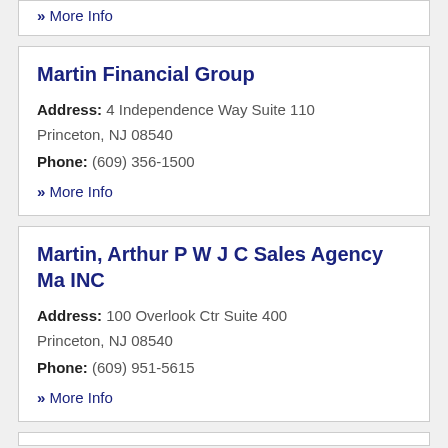» More Info
Martin Financial Group
Address: 4 Independence Way Suite 110 Princeton, NJ 08540
Phone: (609) 356-1500
» More Info
Martin, Arthur P W J C Sales Agency Ma INC
Address: 100 Overlook Ctr Suite 400 Princeton, NJ 08540
Phone: (609) 951-5615
» More Info